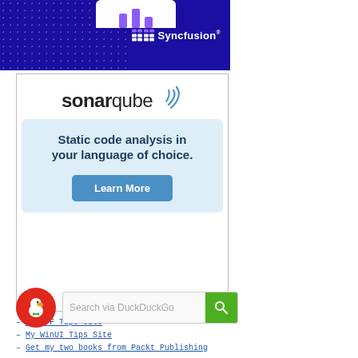[Figure (logo): Syncfusion banner with logo on dark blue background with dot pattern and partial white card with purple bar chart icon at top]
[Figure (screenshot): SonarQube advertisement: logo with sonar wave, light blue box with bold text 'Static code analysis in your language of choice.' and a 'Learn More' button]
– My WPF Tips Site
– My WinUI Tips Site
– Get my two books from Packt Publishing
[Figure (screenshot): DuckDuckGo search widget: circular red icon with duck logo and a search box with text 'Search via DuckDuckGo' and green search button]